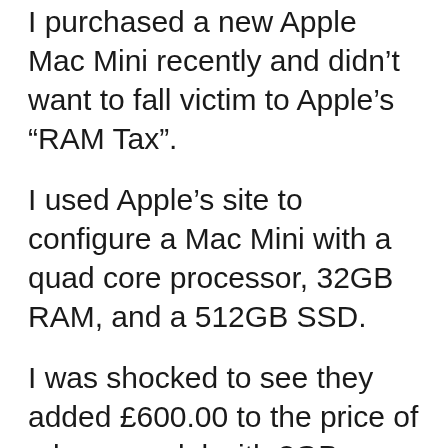I purchased a new Apple Mac Mini recently and didn't want to fall victim to Apple's “RAM Tax”.
I used Apple's site to configure a Mac Mini with a quad core processor, 32GB RAM, and a 512GB SSD.
I was shocked to see they added £600.00 to the price of a base model with 8GB RAM. They’re effectively charging all of this money for 24GB of extra RAM. This memory is nothing special, it’s pretty standard 2666MHz DDR4 SODIMM modules. The same stuff that is used in generic laptops